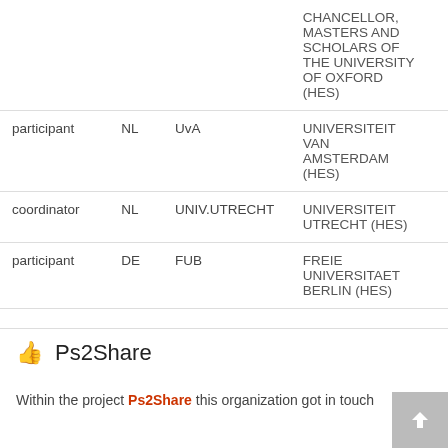| Role | Country | Short Name | Organization |
| --- | --- | --- | --- |
|  |  |  | CHANCELLOR, MASTERS AND SCHOLARS OF THE UNIVERSITY OF OXFORD (HES) |
| participant | NL | UvA | UNIVERSITEIT VAN AMSTERDAM (HES) |
| coordinator | NL | UNIV.UTRECHT | UNIVERSITEIT UTRECHT (HES) |
| participant | DE | FUB | FREIE UNIVERSITAET BERLIN (HES) |
Ps2Share
Within the project Ps2Share this organization got in touch